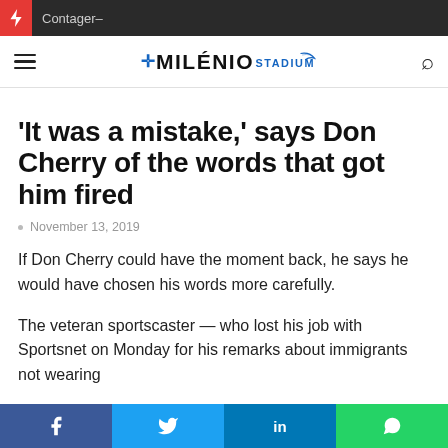Contager–
'It was a mistake,' says Don Cherry of the words that got him fired
November 13, 2019
If Don Cherry could have the moment back, he says he would have chosen his words more carefully.
The veteran sportscaster — who lost his job with Sportsnet on Monday for his remarks about immigrants not wearing